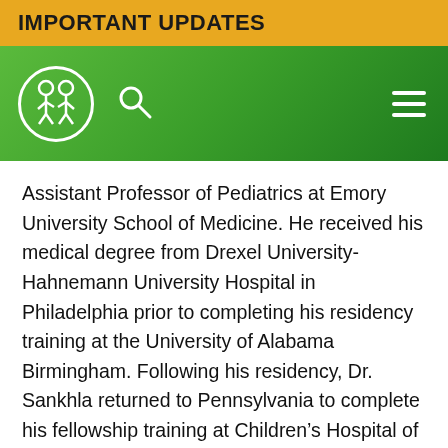IMPORTANT UPDATES
[Figure (logo): Children's hospital logo with two children figures inside a circle, on a green navigation bar with a search icon and hamburger menu]
Assistant Professor of Pediatrics at Emory University School of Medicine. He received his medical degree from Drexel University-Hahnemann University Hospital in Philadelphia prior to completing his residency training at the University of Alabama Birmingham. Following his residency, Dr. Sankhla returned to Pennsylvania to complete his fellowship training at Children's Hospital of Philadelphia. In addition to pediatric epilepsy, Dr. Sankhla's academic and clinical interests include video EEG monitoring and the management of seizures in critically ill children and neonates.